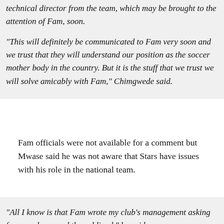the attention of Fam, soon.
“This will definitely be communicated to Fam very soon and we trust that they will understand our position as the soccer mother body in the country. But it is the stuff that we trust we will solve amicably with Fam,” Chimgwede said.
Fam officials were not available for a comment but Mwase said he was not aware that Stars have issues with his role in the national team.
“All I know is that Fam wrote my club’s management asking for my release and they obliged,” he said.
Mwase impressed last season while in charge of the under-20